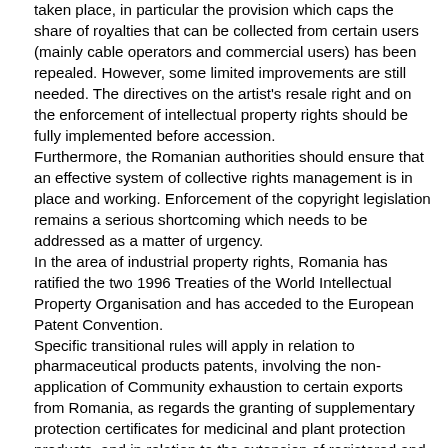taken place, in particular the provision which caps the share of royalties that can be collected from certain users (mainly cable operators and commercial users) has been repealed. However, some limited improvements are still needed. The directives on the artist's resale right and on the enforcement of intellectual property rights should be fully implemented before accession. Furthermore, the Romanian authorities should ensure that an effective system of collective rights management is in place and working. Enforcement of the copyright legislation remains a serious shortcoming which needs to be addressed as a matter of urgency. In the area of industrial property rights, Romania has ratified the two 1996 Treaties of the World Intellectual Property Organisation and has acceded to the European Patent Convention. Specific transitional rules will apply in relation to pharmaceutical products patents, involving the non-application of Community exhaustion to certain exports from Romania, as regards the granting of supplementary protection certificates for medicinal and plant protection products, and in relation to the extension of registered and pending Community trademarks and Community designs to the territory of Romania. In terms of the enforcement of IPR, administrative structures are in place, but the overall enforcement capacity remains weak. Urgent measures to strengthen the administrative capacity and the